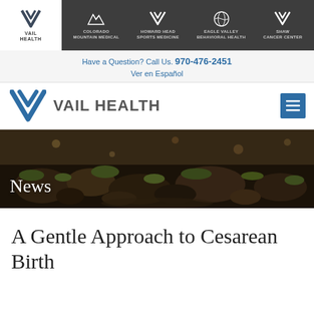[Figure (logo): Vail Health top navigation bar with logo and subsidiary brands: Colorado Mountain Medical, Howard Head Sports Medicine, Eagle Valley Behavioral Health, Shaw Cancer Center]
Have a Question? Call Us. 970-476-2451
Ver en Español
[Figure (logo): Vail Health logo with blue V checkmark and text VAIL HEALTH, plus hamburger menu button]
[Figure (photo): News section hero banner with rocky mountain landscape background and white text 'News']
A Gentle Approach to Cesarean Birth